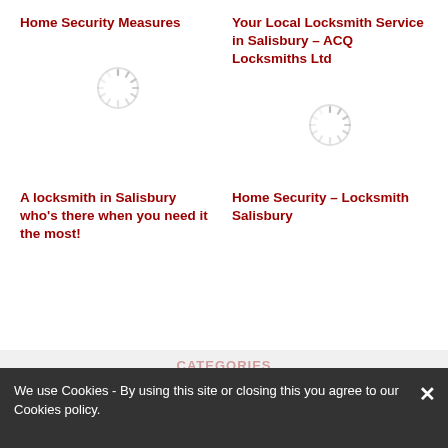Home Security Measures
Your Local Locksmith Service in Salisbury – ACQ Locksmiths Ltd
[Figure (illustration): Loading spinner / placeholder image for Home Security Measures article]
[Figure (illustration): Loading spinner / placeholder image for Your Local Locksmith Service article]
A locksmith in Salisbury who's there when you need it the most!
Home Security – Locksmith Salisbury
CATEGORIES
We use Cookies - By using this site or closing this you agree to our Cookies policy.